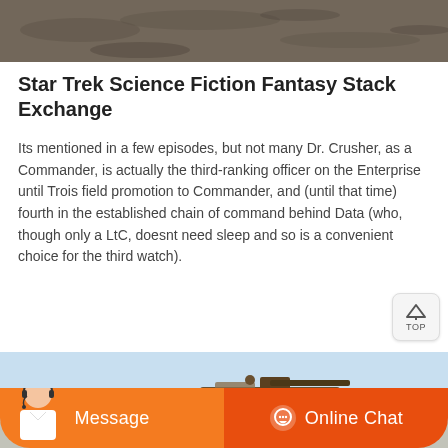[Figure (photo): Top portion of a photo showing dirt/gravel ground, cropped at top of page]
Star Trek Science Fiction Fantasy Stack Exchange
Its mentioned in a few episodes, but not many Dr. Crusher, as a Commander, is actually the third-ranking officer on the Enterprise until Trois field promotion to Commander, and (until that time) fourth in the established chain of command behind Data (who, though only a LtC, doesnt need sleep and so is a convenient choice for the third watch).
[Figure (photo): Photo of a military vehicle/tank against a blue sky background]
[Figure (screenshot): Orange chat bar at the bottom with Message button on the left and Online Chat button on the right, with a customer service avatar on the far left]